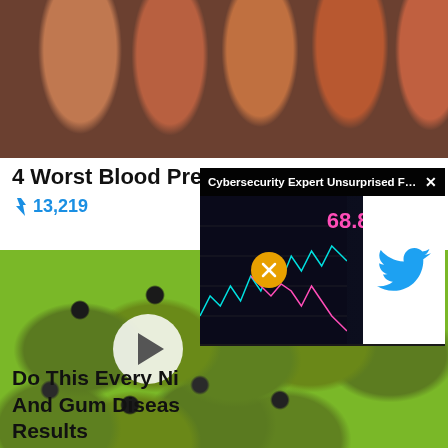[Figure (photo): Row of orange prescription pill bottles with white labels on a dark surface, viewed from above at an angle]
4 Worst Blood Pressure Meds
🔥 13,219
[Figure (photo): Close-up of lotus pod with round dark seeds/balls in green honeycomb-like holes, with a video play button overlay]
[Figure (screenshot): Popup ad overlay showing 'Cybersecurity Expert Unsurprised Forme...' with stock chart showing 68.81, mute button, and Twitter bird logo panel]
Do This Every Ni... And Gum Diseas... Results